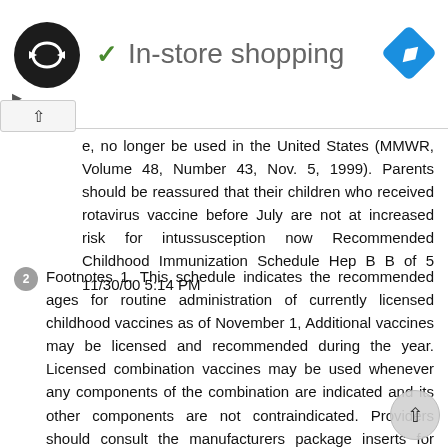[Figure (screenshot): In-store shopping UI bar with logo circle, checkmark label, and navigation diamond icon]
e, no longer be used in the United States (MMWR, Volume 48, Number 43, Nov. 5, 1999). Parents should be reassured that their children who received rotavirus vaccine before July are not at increased risk for intussusception now Recommended Childhood Immunization Schedule Hep B B of 5 11/30/00 5:14 PM
2 Footnotes 1. This schedule indicates the recommended ages for routine administration of currently licensed childhood vaccines as of November 1, Additional vaccines may be licensed and recommended during the year. Licensed combination vaccines may be used whenever any components of the combination are indicated and its other components are not contraindicated. Providers should consult the manufacturers package inserts for detailed recommendations. 2. Infants born to HBsAg-negative mothers should receive the 1st dose of hepatitis B (Hep